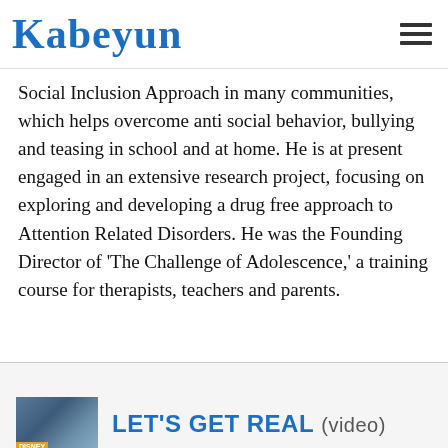Kabeyun
Social Inclusion Approach in many communities, which helps overcome anti social behavior, bullying and teasing in school and at home. He is at present engaged in an extensive research project, focusing on exploring and developing a drug free approach to Attention Related Disorders. He was the Founding Director of 'The Challenge of Adolescence,' a training course for therapists, teachers and parents.
LET'S GET REAL (video)